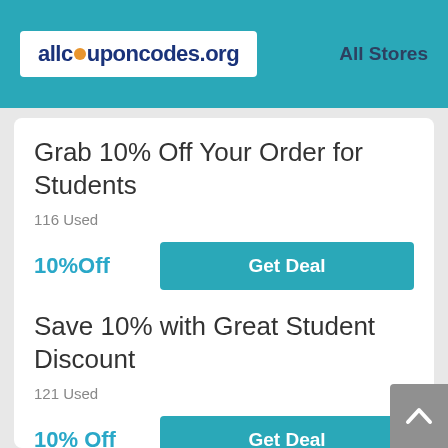allcouponcodes.org  All Stores
Grab 10% Off Your Order for Students
116 Used
10%Off
Get Deal
Save 10% with Great Student Discount
121 Used
10% Off
Get Deal